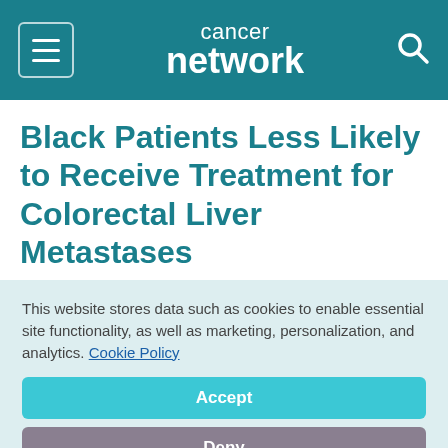cancer network
Black Patients Less Likely to Receive Treatment for Colorectal Liver Metastases
September 11, 2020
Hannah Slater
[Figure (other): Social media share buttons row: Facebook (dark blue), Twitter (light blue), LinkedIn (blue), Pinterest (red), More (grey)]
This website stores data such as cookies to enable essential site functionality, as well as marketing, personalization, and analytics. Cookie Policy
Accept
Deny